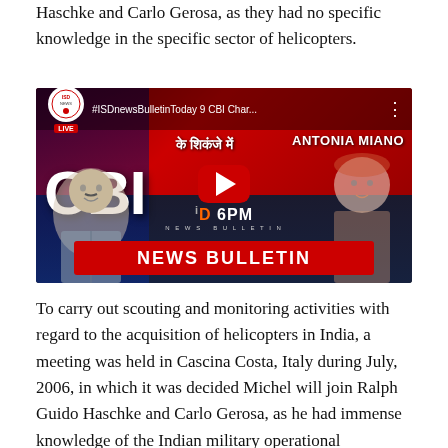Haschke and Carlo Gerosa, as they had no specific knowledge in the specific sector of helicopters.
[Figure (screenshot): YouTube video thumbnail for ISD News Bulletin showing CBI news bulletin with text '#ISDnewsBulletinToday 9 CBI Char...' and 'ANTONIA MIANO', with a red play button, '6PM NEWS BULLETIN' branding, and illustrated portraits of two people on left and right sides.]
To carry out scouting and monitoring activities with regard to the acquisition of helicopters in India, a meeting was held in Cascina Costa, Italy during July, 2006, in which it was decided Michel will join Ralph Guido Haschke and Carlo Gerosa, as he had immense knowledge of the Indian military operational mechanism.